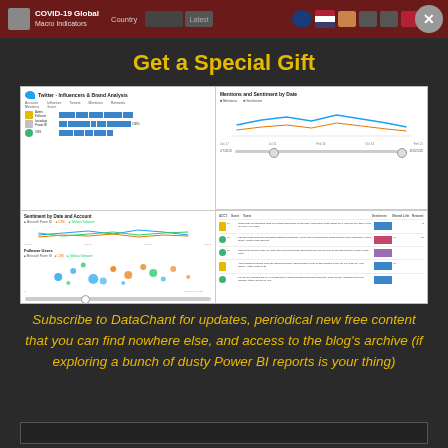COVID-19 Global | Country
Get a Special Gift
[Figure (screenshot): Twitter - Influencers & Brand Analysis dashboard screenshot showing bar charts, line charts, scatter plots, and data tables with sentiment analysis]
Subscribe to DataChant for updates, periodical new free content that you can find nowhere else, and access to the blog's archive (if exploring a bunch of dusty Power BI reports is your thing)